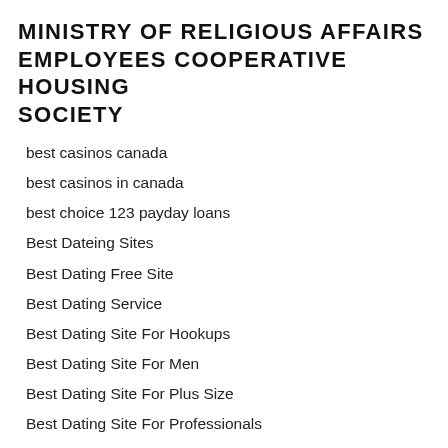MINISTRY OF RELIGIOUS AFFAIRS EMPLOYEES COOPERATIVE HOUSING SOCIETY
best casinos canada
best casinos in canada
best choice 123 payday loans
Best Dateing Sites
Best Dating Free Site
Best Dating Service
Best Dating Site For Hookups
Best Dating Site For Men
Best Dating Site For Plus Size
Best Dating Site For Professionals